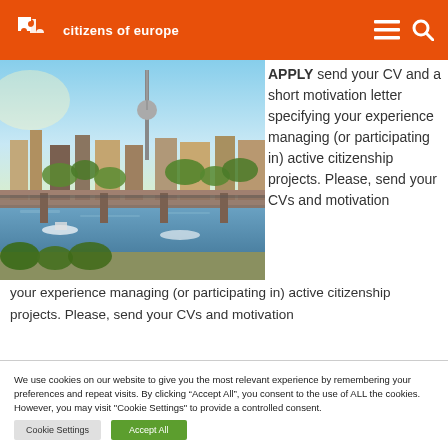citizens of europe
[Figure (photo): Aerial/elevated view of Berlin cityscape with river, bridges, and TV tower]
APPLY send your CV and a short motivation letter specifying your experience managing (or participating in) active citizenship projects. Please, send your CVs and motivation
We use cookies on our website to give you the most relevant experience by remembering your preferences and repeat visits. By clicking "Accept All", you consent to the use of ALL the cookies. However, you may visit "Cookie Settings" to provide a controlled consent.